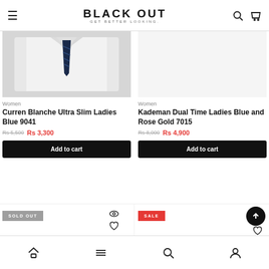BLACK OUT — GET BETTER LOOKING.
[Figure (photo): Product photo: white shirt with navy diagonal stripe tie, folded.]
Women
Curren Blanche Ultra Slim Ladies Blue 9041
Rs 5,500   Rs 3,300
Add to cart
Women
Kademan Dual Time Ladies Blue and Rose Gold 7015
Rs 8,000   Rs 4,900
Add to cart
SOLD OUT
SALE
Home  Menu  Search  Account